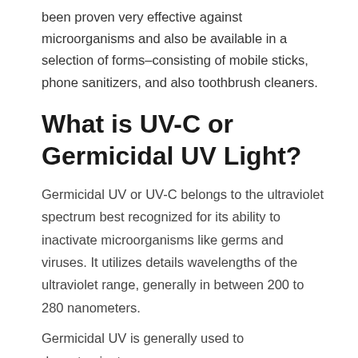been proven very effective against microorganisms and also be available in a selection of forms–consisting of mobile sticks, phone sanitizers, and also toothbrush cleaners.
What is UV-C or Germicidal UV Light?
Germicidal UV or UV-C belongs to the ultraviolet spectrum best recognized for its ability to inactivate microorganisms like germs and viruses. It utilizes details wavelengths of the ultraviolet range, generally in between 200 to 280 nanometers.
Germicidal UV is generally used to decontaminate spaces